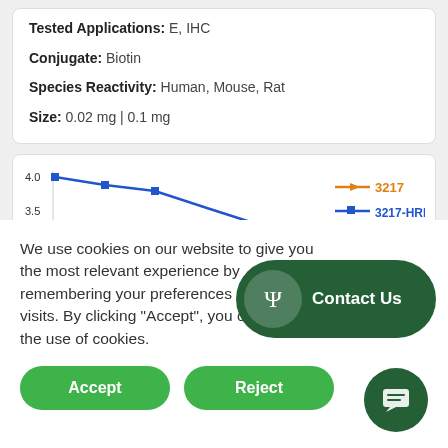Tested Applications: E, IHC
Conjugate: Biotin
Species Reactivity: Human, Mouse, Rat
Size: 0.02 mg | 0.1 mg
[Figure (line-chart): Partial line chart showing y-axis values 3.5 and 4.0, with two series: 3217 (orange) and 3217-HRP (blue)]
We use cookies on our website to give you the most relevant experience by remembering your preferences and repeat visits. By clicking “Accept”, you consent to the use of cookies.
Accept
Reject
Contact Us